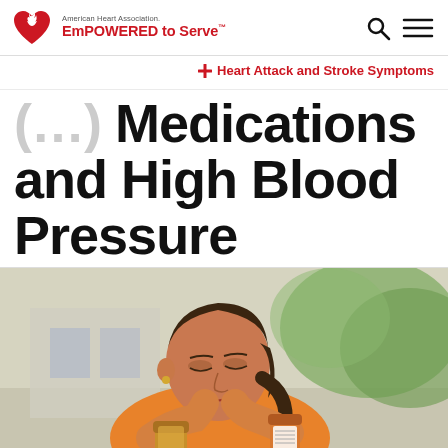[Figure (logo): American Heart Association EmPOWERED to Serve logo with red heart and torch icon]
[Figure (other): Search and hamburger menu navigation icons]
❤ Heart Attack and Stroke Symptoms
(…) Medications and High Blood Pressure
[Figure (photo): Woman in orange shirt reading a medication bottle label outdoors]